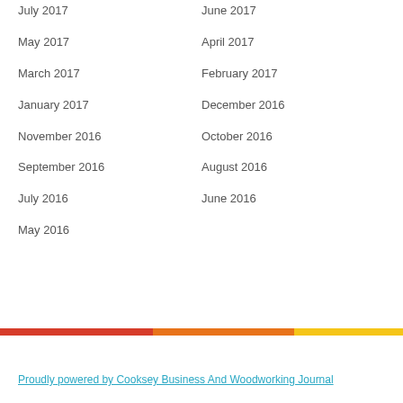July 2017
June 2017
May 2017
April 2017
March 2017
February 2017
January 2017
December 2016
November 2016
October 2016
September 2016
August 2016
July 2016
June 2016
May 2016
Proudly powered by Cooksey Business And Woodworking Journal